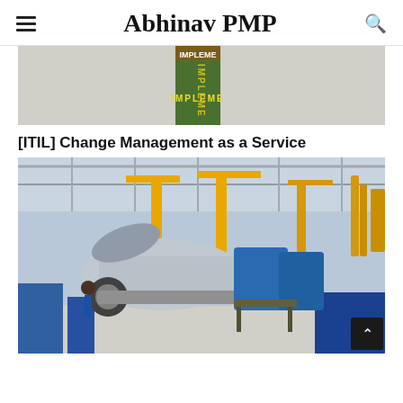Abhinav PMP
[Figure (photo): Partial view of a diagram with 'IMPLEME' text visible, cropped at top]
[ITIL] Change Management as a Service
[Figure (photo): Automotive assembly line photo showing cars being assembled on elevated platforms with yellow cranes and workers in a factory setting]